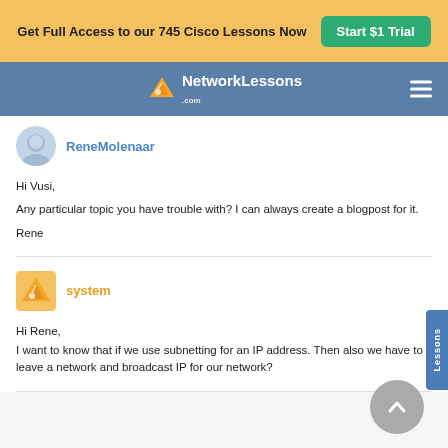Get Full Access to our 745 Cisco Lessons Now  Start $1 Trial
[Figure (logo): NetworkLessons.com logo with navigation bar on blue background]
ReneMolenaar
Hi Vusi,
Any particular topic you have trouble with? I can always create a blogpost for it.
Rene
system
Hi Rene,
I want to know that if we use subnetting for an IP address. Then also we have to leave a network and broadcast IP for our network?